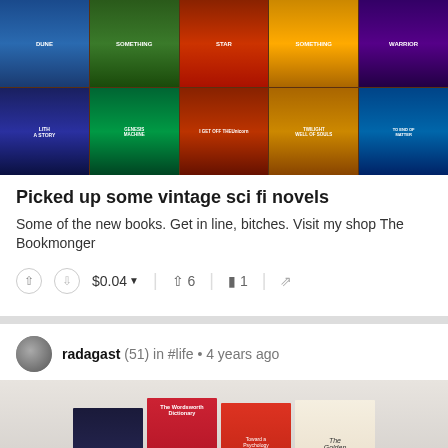[Figure (photo): A photo of vintage science fiction novel paperbacks arranged in two rows on a wooden surface, showing colorful fantasy/sci-fi cover art]
Picked up some vintage sci fi novels
Some of the new books. Get in line, bitches. Visit my shop The Bookmonger
$0.04  6  1
radagast (51) in #life • 4 years ago
[Figure (photo): A photo of paperback books including Siddhartha, The Wordsworth Dictionary, Toward a Psychology of Being, and The Golden (something), arranged standing upright against a white background]